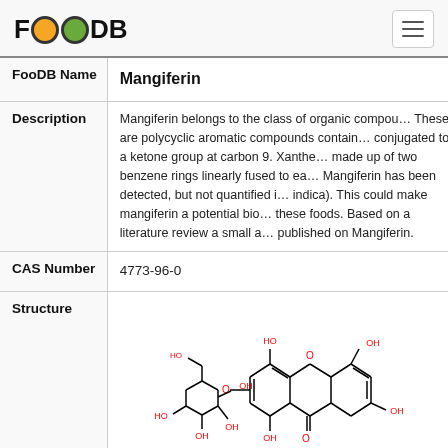FooDB
| Field | Value |
| --- | --- |
| FooDB Name | Mangiferin |
| Description | Mangiferin belongs to the class of organic compounds known as xanthones. These are polycyclic aromatic compounds containing a xanthene moiety, conjugated to a ketone group at carbon 9. Xanthene is a tricyclic compound made up of two benzene rings linearly fused to each side of pyran ring. Mangiferin has been detected, but not quantified in, several different foods (mango indica). This could make mangiferin a potential biomarker for the consumption of these foods. Based on a literature review a small amount of articles have been published on Mangiferin. |
| CAS Number | 4773-96-0 |
| Structure | [chemical structure image of Mangiferin] |
[Figure (illustration): Chemical structure diagram of Mangiferin showing xanthone core with hydroxyl groups and glucose moiety, rendered as a 2D skeletal formula with red heteroatom labels (O, OH) and black carbon skeleton lines.]